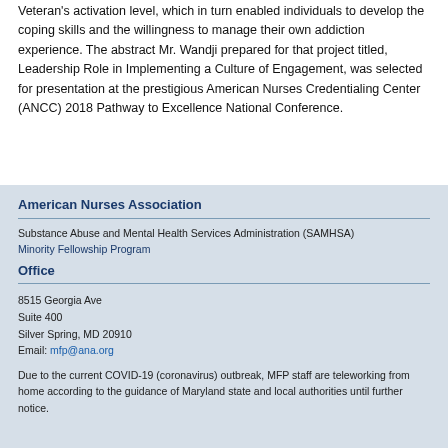Veteran's activation level, which in turn enabled individuals to develop the coping skills and the willingness to manage their own addiction experience. The abstract Mr. Wandji prepared for that project titled, Leadership Role in Implementing a Culture of Engagement, was selected for presentation at the prestigious American Nurses Credentialing Center (ANCC) 2018 Pathway to Excellence National Conference.
American Nurses Association
Substance Abuse and Mental Health Services Administration (SAMHSA)
Minority Fellowship Program
Office
8515 Georgia Ave
Suite 400
Silver Spring, MD 20910
Email: mfp@ana.org
Due to the current COVID-19 (coronavirus) outbreak, MFP staff are teleworking from home according to the guidance of Maryland state and local authorities until further notice.